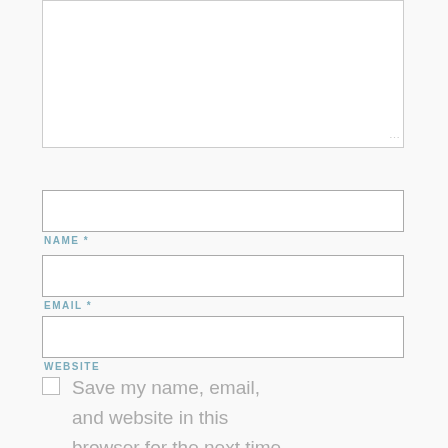[Figure (other): Large textarea input box at the top of a web comment form]
NAME *
EMAIL *
WEBSITE
Save my name, email, and website in this browser for the next time I